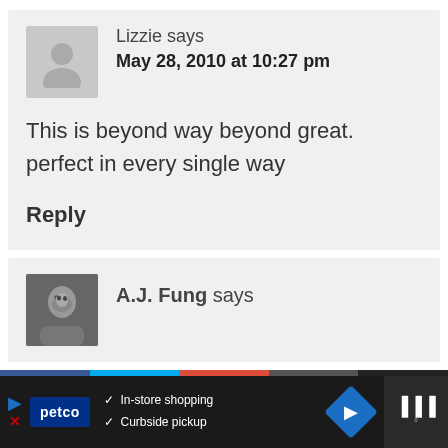Lizzie says
May 28, 2010 at 10:27 pm
This is beyond way beyond great. perfect in every single way
Reply
A.J. Fung says
[Figure (infographic): Advertisement bar: Petco logo with In-store shopping and Curbside pickup checkmarks, navigation icon, and social share strip]
[Figure (photo): Gray placeholder avatar silhouette for Lizzie's comment]
[Figure (photo): Black and white photo of A.J. Fung]